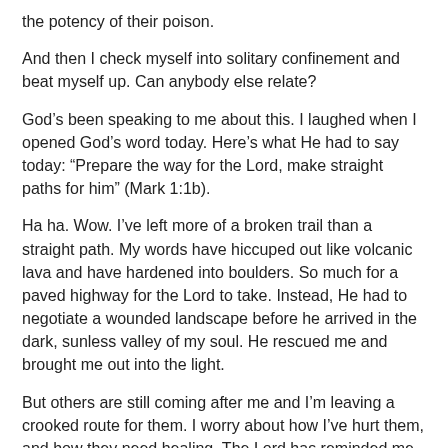the potency of their poison.
And then I check myself into solitary confinement and beat myself up. Can anybody else relate?
God’s been speaking to me about this. I laughed when I opened God’s word today. Here’s what He had to say today: “Prepare the way for the Lord, make straight paths for him” (Mark 1:1b).
Ha ha. Wow. I’ve left more of a broken trail than a straight path. My words have hiccuped out like volcanic lava and have hardened into boulders. So much for a paved highway for the Lord to take. Instead, He had to negotiate a wounded landscape before he arrived in the dark, sunless valley of my soul. He rescued me and brought me out into the light.
But others are still coming after me and I’m leaving a crooked route for them. I worry about how I’ve hurt them, and how they need healing. The Lord has reminded me, though, that straight lanes are boring.